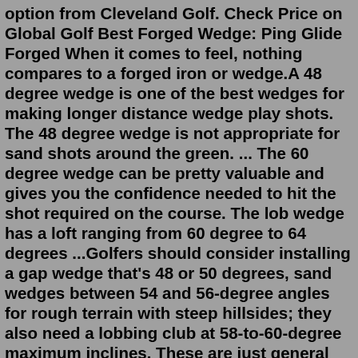option from Cleveland Golf. Check Price on Global Golf Best Forged Wedge: Ping Glide Forged When it comes to feel, nothing compares to a forged iron or wedge.A 48 degree wedge is one of the best wedges for making longer distance wedge play shots. The 48 degree wedge is not appropriate for sand shots around the green. ... The 60 degree wedge can be pretty valuable and gives you the confidence needed to hit the shot required on the course. The lob wedge has a loft ranging from 60 degree to 64 degrees ...Golfers should consider installing a gap wedge that's 48 or 50 degrees, sand wedges between 54 and 56-degree angles for rough terrain with steep hillsides; they also need a lobbing club at 58-to-60-degree maximum inclines. These are just general guidelines so make sure you work closely together as well!One major difference in a 58 and 60 degree wedge will be the distance you hit the ball. For me, I used to hit my 60 degree wedge between 80 and 84 yards. I could hit a 58 degree wedge around 84 to 88 yards. While most will not think this is important, it